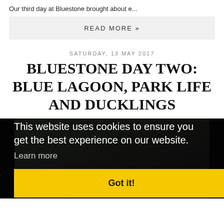Our third day at Bluestone brought about e...
READ MORE »
SATURDAY, 13 MAY 2017
BLUESTONE DAY TWO: BLUE LAGOON, PARK LIFE AND DUCKLINGS
[Figure (photo): Photo of a person in a red top outdoors, partially obscured by a dark cookie consent overlay]
This website uses cookies to ensure you get the best experience on our website.
Learn more
Got it!